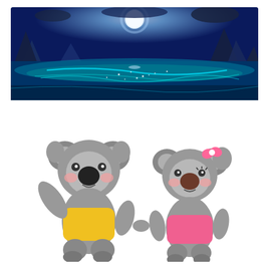[Figure (illustration): Cartoon night ocean scene with glowing blue water, moonlit sky, rocky islands or icebergs in background, and sparkling waves in the foreground]
[Figure (illustration): Two cute cartoon koala characters holding hands. Left koala is larger, wearing a yellow shirt, waving one arm up. Right koala is slightly smaller, wearing a pink shirt, with a pink bow on head.]